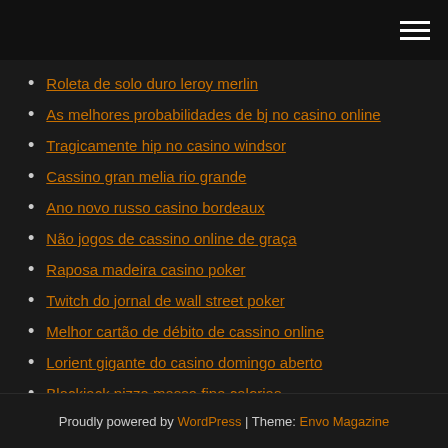Navigation menu icon (hamburger)
Roleta de solo duro leroy merlin
As melhores probabilidades de bj no casino online
Tragicamente hip no casino windsor
Cassino gran melia rio grande
Ano novo russo casino bordeaux
Não jogos de cassino online de graça
Raposa madeira casino poker
Twitch do jornal de wall street poker
Melhor cartão de débito de cassino online
Lorient gigante do casino domingo aberto
Blackjack pizza massa fina calorias
Proudly powered by WordPress | Theme: Envo Magazine